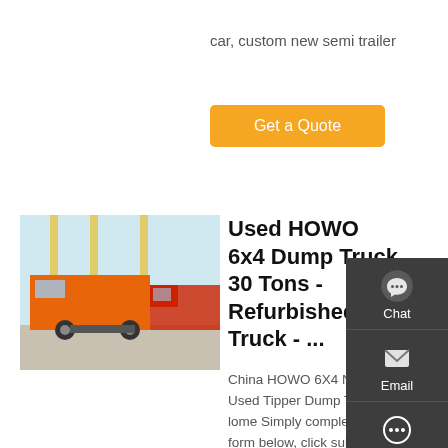car, custom new semi trailer
[Figure (other): Orange button labeled Get a Quote]
[Figure (photo): Orange HOWO 6x4 dump trucks parked in a lot with cranes in the background]
Used HOWO 6x4 Dump Truck 30 Tons - Refurbished Truck - ...
China HOWO 6X4 New and Used Tipper Dump Truck for lome Simply complete the form below, click submit, you will get the price list and a Luyi representative will contact you within one business day. Please